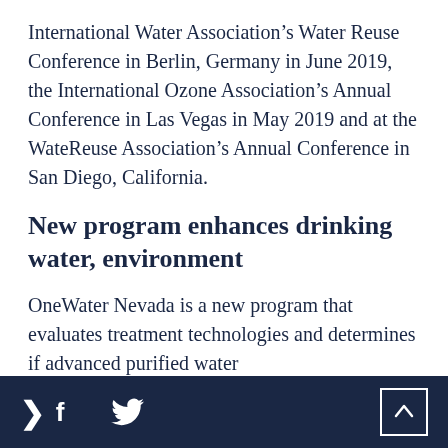International Water Association's Water Reuse Conference in Berlin, Germany in June 2019, the International Ozone Association's Annual Conference in Las Vegas in May 2019 and at the WateReuse Association's Annual Conference in San Diego, California.
New program enhances drinking water, environment
OneWater Nevada is a new program that evaluates treatment technologies and determines if advanced purified water
> f Twitter scroll-to-top